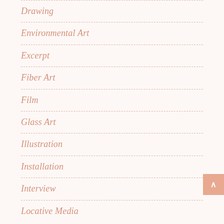Drawing
Environmental Art
Excerpt
Fiber Art
Film
Glass Art
Illustration
Installation
Interview
Locative Media